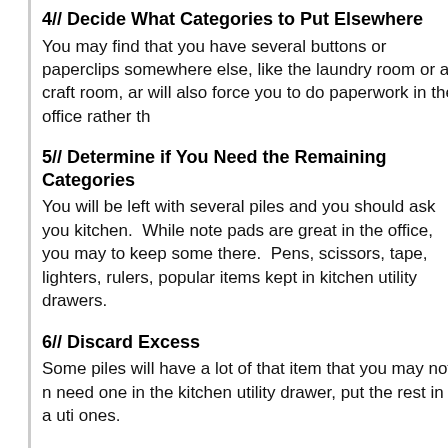4// Decide What Categories to Put Elsewhere
You may find that you have several buttons or paperclips somewhere else, like the laundry room or a craft room, ar will also force you to do paperwork in the office rather th
5// Determine if You Need the Remaining Categories
You will be left with several piles and you should ask you kitchen.  While note pads are great in the office, you may to keep some there.  Pens, scissors, tape, lighters, rulers, popular items kept in kitchen utility drawers.
6// Discard Excess
Some piles will have a lot of that item that you may not n need one in the kitchen utility drawer, put the rest in a uti ones.
7// Fill Your Compartments
Fill each compartment in your drawer organizer with like